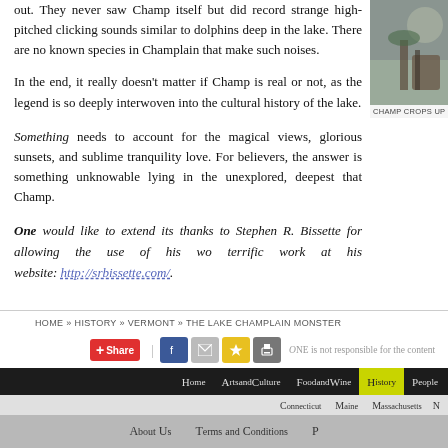out. They never saw Champ itself but did record strange high-pitched clicking sounds similar to dolphins deep in the lake. There are no known species in Champlain that make such noises.
[Figure (photo): Photograph of a lake scene, partially visible on right side of page]
CHAMP CROPS UP EVE
In the end, it really doesn't matter if Champ is real or not, as the legend is so deeply interwoven into the cultural history of the lake.
Something needs to account for the magical views, glorious sunsets, and sublime tranquility love. For believers, the answer is something unknowable lying in the unexplored, deepest that Champ.
ONE would like to extend its thanks to Stephen R. Bissette for allowing the use of his wo terrific work at his website: http://srbissette.com/ .
HOME » HISTORY » VERMONT » THE LAKE CHAMPLAIN MONSTER
ONE is not responsible for the content
Home Arts and Culture Food and Wine History People
Connecticut Maine Massachusetts N
About Us   Terms and Conditions   P